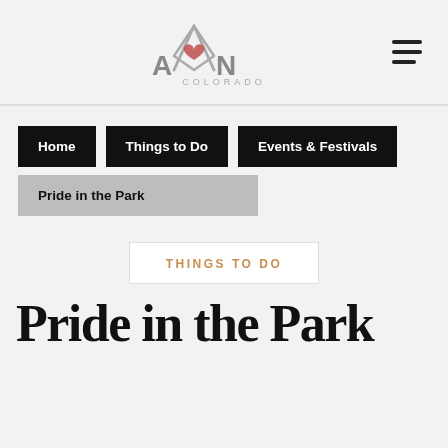[Figure (logo): Avon Colorado logo with stylized mountain/heart icon and text AVON COLORADO]
Navigation menu (hamburger icon)
Home
Things to Do
Events & Festivals
Pride in the Park
THINGS TO DO
Pride in the Park